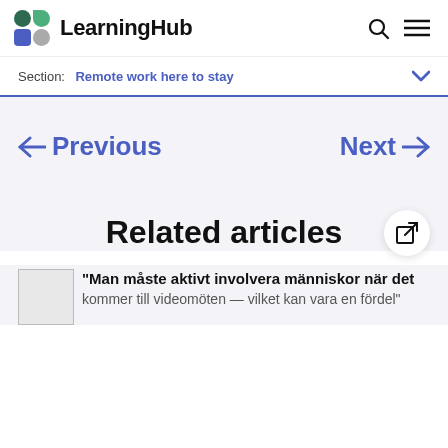LearningHub
Section: Remote work here to stay
← Previous    Next →
Related articles
"Man måste aktivt involvera människor när det kommer till videomöten — vilket kan vara en fördel"